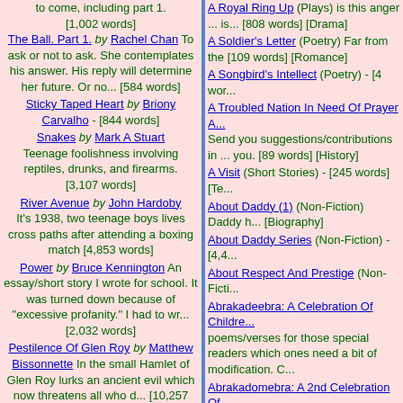to come, including part 1. [1,002 words] The Ball. Part 1. by Rachel Chan To ask or not to ask. She contemplates his answer. His reply will determine her future. Or no... [584 words]
Sticky Taped Heart by Briony Carvalho - [844 words]
Snakes by Mark A Stuart Teenage foolishness involving reptiles, drunks, and firearms. [3,107 words]
River Avenue by John Hardoby It's 1938, two teenage boys lives cross paths after attending a boxing match [4,853 words]
Power by Bruce Kennington An essay/short story I wrote for school. It was turned down because of "excessive profanity." I had to wr... [2,032 words]
Pestilence Of Glen Roy by Matthew Bissonnette In the small Hamlet of Glen Roy lurks an ancient evil which now threatens all who d... [10,257 words]
New Year's Eve by Dougie
A Royal Ring Up (Plays) is this anger ... is... [808 words] [Drama]
A Soldier's Letter (Poetry) Far from the [109 words] [Romance]
A Songbird's Intellect (Poetry) - [4 wor...
A Troubled Nation In Need Of Prayer A... Send you suggestions/contributions in ... you. [89 words] [History]
A Visit (Short Stories) - [245 words] [Te...
About Daddy (1) (Non-Fiction) Daddy h... [Biography]
About Daddy Series (Non-Fiction) - [4,4...
About Respect And Prestige (Non-Ficti...
Abrakadeebra: A Celebration Of Childre... poems/verses for those special readers which ones need a bit of modification. C...
Abrakadomebra: A 2nd Celebration Of ... anyway) little poems/verses about Fros... children's laughter. Cheers. [2,349 wor...
Abrakadoobra: 100 Short Poems For C... trying to write poems for children mores... Maybe neither. Please let me know whi... words] [Fantasy]
Abrakadyebra: A Third Collection Of Ch... poems about Frosty and Jack and Jill a...
Abstinence (Poetry) - [18 words] [Psych...
Adestes: Little Christmas Poems For C... kind/bring me a toy/one doesn't wind...